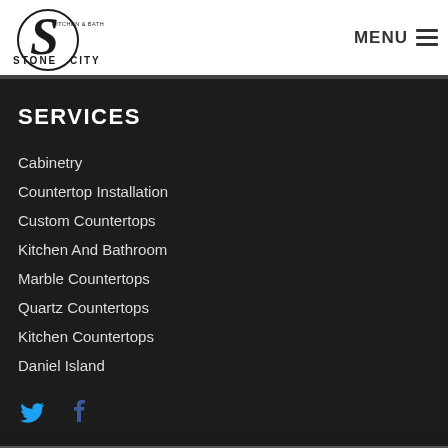[Figure (logo): Stone City Kitchen & Bath logo — stylized S with stone city text]
MENU
SERVICES
Cabinetry
Countertop Installation
Custom Countertops
Kitchen And Bathroom
Marble Countertops
Quartz Countertops
Kitchen Countertops
Daniel Island
[Figure (illustration): Twitter and Facebook social media icons in blue]